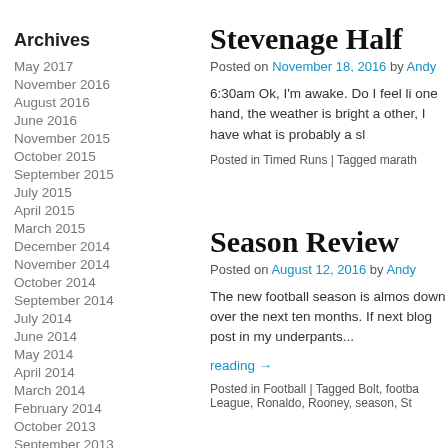Archives
May 2017
November 2016
August 2016
June 2016
November 2015
October 2015
September 2015
July 2015
April 2015
March 2015
December 2014
November 2014
October 2014
September 2014
July 2014
June 2014
May 2014
April 2014
March 2014
February 2014
October 2013
September 2013
August 2013
Stevenage Half
Posted on November 18, 2016 by Andy
6:30am Ok, I’m awake. Do I feel li one hand, the weather is bright a other, I have what is probably a sl
Posted in Timed Runs | Tagged marath
Season Review
Posted on August 12, 2016 by Andy
The new football season is almos down over the next ten months. If next blog post in my underpants...
reading →
Posted in Football | Tagged Bolt, footba League, Ronaldo, Rooney, season, St